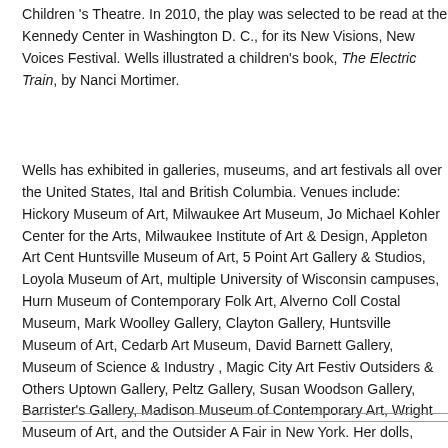Children 's Theatre. In 2010, the play was selected to be read at the Kennedy Center in Washington D. C., for its New Visions, New Voices Festival. Wells illustrated a children's book, The Electric Train, by Nanci Mortimer.
Wells has exhibited in galleries, museums, and art festivals all over the United States, Italy, and British Columbia. Venues include: Hickory Museum of Art, Milwaukee Art Museum, John Michael Kohler Center for the Arts, Milwaukee Institute of Art & Design, Appleton Art Center, Huntsville Museum of Art, 5 Point Art Gallery & Studios, Loyola Museum of Art, multiple University of Wisconsin campuses, Hurn Museum of Contemporary Folk Art, Alverno College Costal Museum, Mark Woolley Gallery, Clayton Gallery, Huntsville Museum of Art, Cedarburg Art Museum, David Barnett Gallery, Museum of Science & Industry , Magic City Art Festival, Outsiders & Others Uptown Gallery, Peltz Gallery, Susan Woodson Gallery, Barrister's Gallery, Madison Museum of Contemporary Art, Wright Museum of Art, and the Outsider Art Fair in New York. Her dolls, cards and collages are currently sold at The Smithsonian National African Museum of History and Culture and Intuit: The Center for Intuitive and Outsider Art in Chicago. She has been a featured artist at the Kentuck Festival of Arts, the largest art festival featuring folk, self-taught, and outsider art in the United States. Her work in over 100 private, corporate, and museum collections including Saint Kate Hotel, Hurn Museum of Contemporary Folk Art, Northwestern Mutual Insurance, Milwaukee Bucks, and the Wright Museum of Art. Wells is represented by the Portrait Society Gallery.